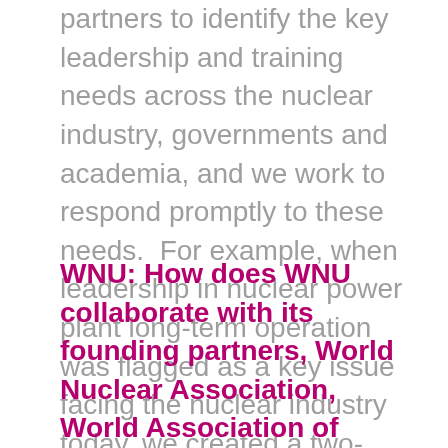partners to identify the key leadership and training needs across the nuclear industry, governments and academia, and we work to respond promptly to these needs. For example, when leadership in nuclear power plant long-term operation was flagged as a key issue facing the nuclear industry today, we created a two-week intensive virtual course with mentored action learning challenges to support leadership capabilities in this area (the Strategic Leadership Academy).
WNU: How does WNU collaborate with its founding partners, World Nuclear Association, World Association of